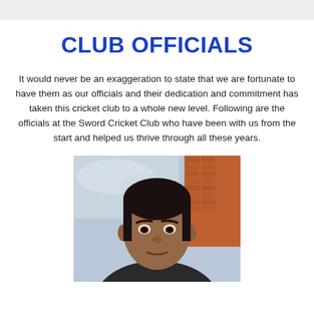CLUB OFFICIALS
It would never be an exaggeration to state that we are fortunate to have them as our officials and their dedication and commitment has taken this cricket club to a whole new level. Following are the officials at the Sword Cricket Club who have been with us from the start and helped us thrive through all these years.
[Figure (photo): Headshot photograph of a man with short dark hair, outdoors, with a brick building visible in the background and cloudy sky.]